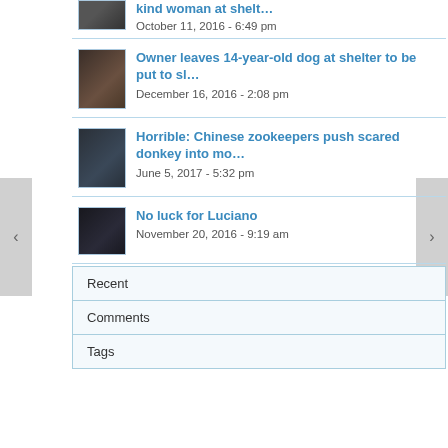kind woman at shelt... October 11, 2016 - 6:49 pm
Owner leaves 14-year-old dog at shelter to be put to sl... December 16, 2016 - 2:08 pm
Horrible: Chinese zookeepers push scared donkey into mo... June 5, 2017 - 5:32 pm
No luck for Luciano November 20, 2016 - 9:19 am
Recent
Comments
Tags